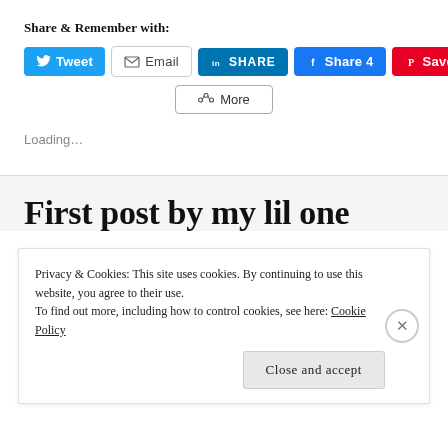Share & Remember with:
[Figure (screenshot): Social sharing buttons row: Tweet (Twitter/blue), Email (grey outline), SHARE (LinkedIn/dark blue), Share 4 (Facebook/blue), Save (Pinterest/red)]
[Figure (screenshot): More sharing options button with share icon]
Loading…
First post by my lil one
Privacy & Cookies: This site uses cookies. By continuing to use this website, you agree to their use.
To find out more, including how to control cookies, see here: Cookie Policy
Close and accept